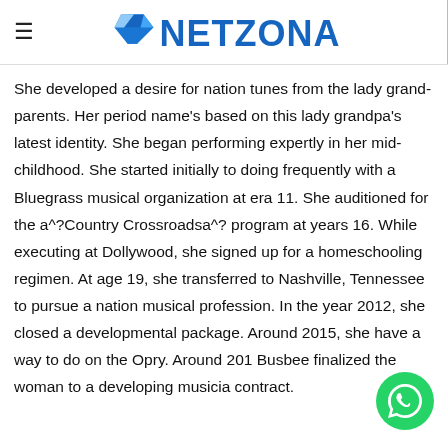NETZONA
She developed a desire for nation tunes from the lady grand-parents. Her period name's based on this lady grandpa's latest identity. She began performing expertly in her mid-childhood. She started initially to doing frequently with a Bluegrass musical organization at era 11. She auditioned for the a^?Country Crossroadsa^? program at years 16. While executing at Dollywood, she signed up for a homeschooling regimen. At age 19, she transferred to Nashville, Tennessee to pursue a nation musical profession. In the year 2012, she closed a developmental package. Around 2015, she have a way to do on the Opry. Around 201 Busbee finalized the woman to a developing musicia contract.
[Figure (logo): WhatsApp contact button, green circle with phone handset icon]